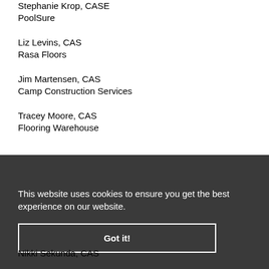Stephanie Krop, CASE
PoolSure
Liz Levins, CAS
Rasa Floors
Jim Martensen, CAS
Camp Construction Services
Tracey Moore, CAS
Flooring Warehouse
This website uses cookies to ensure you get the best experience on our website.
Got it!
Nikki Sekunda, CAS